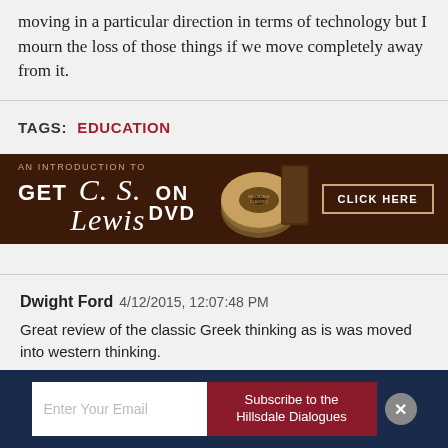moving in a particular direction in terms of technology but I mourn the loss of those things if we move completely away from it.
TAGS: EDUCATION
[Figure (infographic): Advertisement banner: AN INTRODUCTION TO GET C. S. Lewis ON DVD with CLICK HERE button and DVD image on dark brown background]
Dwight Ford 4/12/2015, 12:07:48 PM
Great review of the classic Greek thinking as is was moved into western thinking.
[Figure (infographic): Email subscription footer bar: Enter Your Email field and Subscribe to the Hillsdale Dialogues button with close X button, on navy blue background]